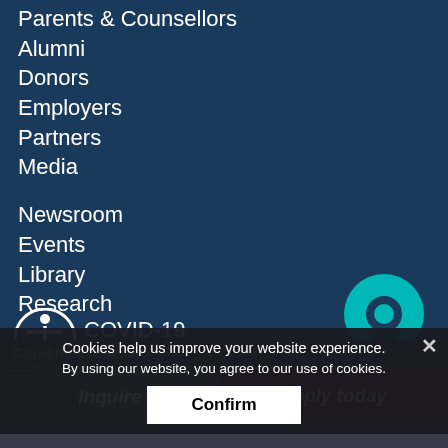Parents & Counsellors
Alumni
Donors
Employers
Partners
Media
Newsroom
Events
Library
Research
COVID-19
Careers at Sheridan
Inquire
Apply today
Cookies help us improve your website experience.
By using our website, you agree to our use of cookies.
Confirm